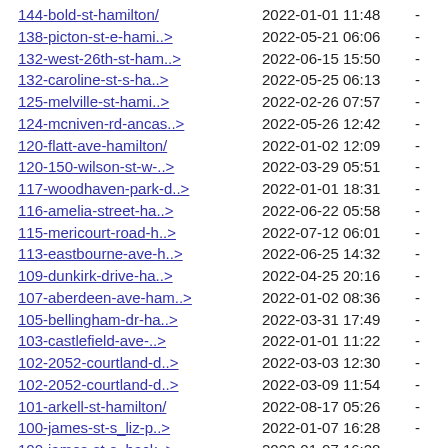144-bold-st-hamilton/  2022-01-01 11:48  -
138-picton-st-e-hami..>  2022-05-21 06:06  -
132-west-26th-st-ham..>  2022-06-15 15:50  -
132-caroline-st-s-ha..>  2022-05-25 06:13  -
125-melville-st-hami..>  2022-02-26 07:57  -
124-mcniven-rd-ancas..>  2022-05-26 12:42  -
120-flatt-ave-hamilton/  2022-01-02 12:09  -
120-150-wilson-st-w-..>  2022-03-29 05:51  -
117-woodhaven-park-d..>  2022-01-01 18:31  -
116-amelia-street-ha..>  2022-06-22 05:58  -
115-mericourt-road-h..>  2022-07-12 06:01  -
113-eastbourne-ave-h..>  2022-06-25 14:32  -
109-dunkirk-drive-ha..>  2022-04-25 20:16  -
107-aberdeen-ave-ham..>  2022-01-02 08:36  -
105-bellingham-dr-ha..>  2022-03-31 17:49  -
103-castlefield-ave-..>  2022-01-01 11:22  -
102-2052-courtland-d..>  2022-03-03 12:30  -
102-2052-courtland-d..>  2022-03-09 11:54  -
101-arkell-st-hamilton/  2022-08-17 05:26  -
100-james-st-s_liz-p..>  2022-01-07 16:28  -
100-james-st-s_back..>  2022-01-07 16:28  -